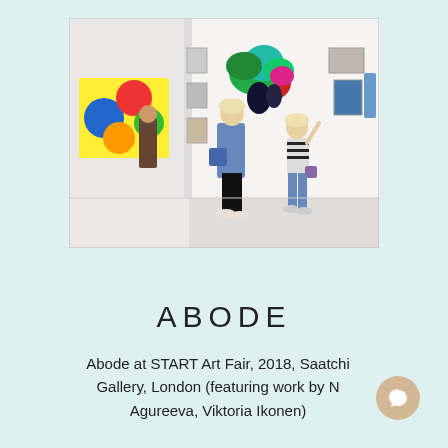[Figure (photo): Gallery interior showing two people — an adult woman in a denim jacket and a young girl in a striped top — viewing a colorful sculptural artwork mounted on a white gallery wall. Other artworks visible in the background.]
ABODE
Abode at START Art Fair, 2018, Saatchi Gallery, London (featuring work by N Agureeva, Viktoria Ikonen)